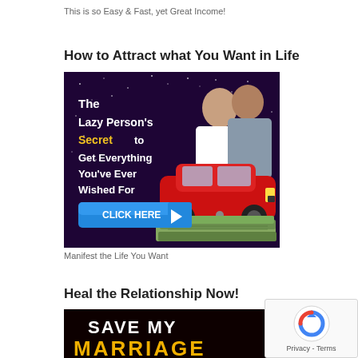This is so Easy & Fast, yet Great Income!
How to Attract what You Want in Life
[Figure (illustration): Advertisement banner: dark purple starry background with couple (woman and man smiling), red sports car, stacks of cash. Text reads: 'The Lazy Person's Secret to Get Everything You've Ever Wished For' with a blue CLICK HERE button with arrow.]
Manifest the Life You Want
Heal the Relationship Now!
[Figure (illustration): Advertisement banner: dark background with large white and yellow text reading 'SAVE MY MARRIAGE' (partially visible, cropped at bottom).]